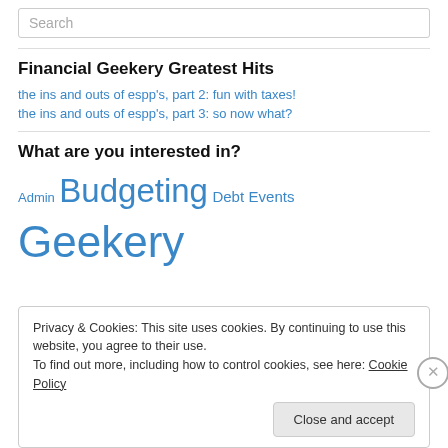Search
Financial Geekery Greatest Hits
the ins and outs of espp's, part 2: fun with taxes!
the ins and outs of espp's, part 3: so now what?
What are you interested in?
Admin Budgeting Debt Events Geekery
Privacy & Cookies: This site uses cookies. By continuing to use this website, you agree to their use. To find out more, including how to control cookies, see here: Cookie Policy